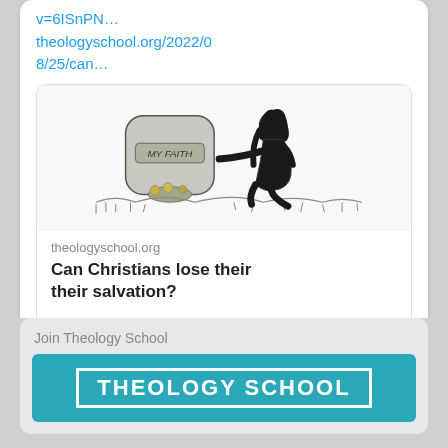v=6ISnPN…
theologyschool.org/2022/08/25/can…
[Figure (illustration): A black and white illustration of a woman kneeling at a gravestone that reads 'MY FAITH', with flowers at the base]
theologyschool.org
Can Christians lose their salvation?
Join Theology School
[Figure (logo): Theology School banner with teal background and white text reading THEOLOGY SCHOOL in a white bordered box]